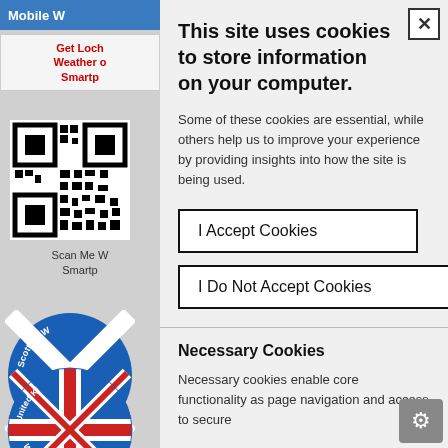[Figure (screenshot): Background of a weather website showing a blue header with 'Mobile W', a sidebar with red text links about local weather for smartphones, a QR code, scan instructions, a Scottish Weather Network circular badge, and a United Kingdom Weather circular badge.]
This site uses cookies to store information on your computer.
Some of these cookies are essential, while others help us to improve your experience by providing insights into how the site is being used.
I Accept Cookies
I Do Not Accept Cookies
Necessary Cookies
Necessary cookies enable core functionality as page navigation and access to secure